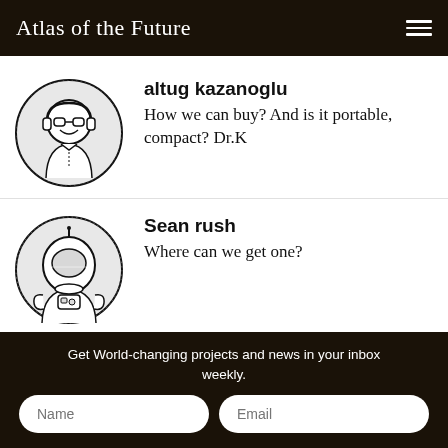Atlas of the Future
[Figure (illustration): Circular avatar icon of a person wearing headphones and glasses, line art style with dotted shading background]
altug kazanoglu
How we can buy? And is it portable, compact? Dr. K
[Figure (illustration): Circular avatar icon of an astronaut in a space suit, line art style with dotted shading background]
Sean rush
Where can we get one?
[Figure (illustration): Partial circular avatar icon at bottom, line art style]
Narendra Pratap
Get World-changing projects and news in your inbox weekly.